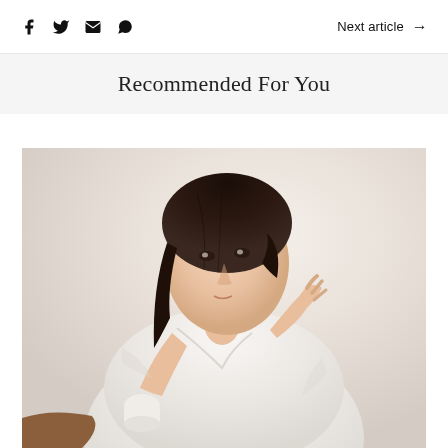Social share icons (Facebook, Twitter, Email, WhatsApp) | Next article →
Recommended For You
[Figure (photo): A woman in a white robe applying skincare cream to her face, holding a small jar in her other hand, against a light beige/white background.]